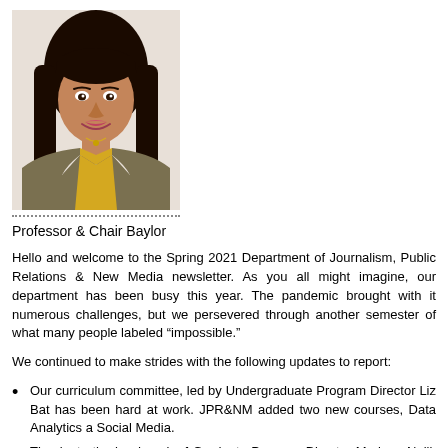[Figure (photo): Headshot photo of Professor & Chair Baylor, a woman with long dark hair wearing a yellow top and grey blazer with a necklace, smiling at the camera.]
Professor & Chair Baylor
Hello and welcome to the Spring 2021 Department of Journalism, Public Relations & New Media newsletter. As you all might imagine, our department has been busy this year. The pandemic brought with it numerous challenges, but we persevered through another semester of what many people labeled “impossible.”
We continued to make strides with the following updates to report:
Our curriculum committee, led by Undergraduate Program Director Liz Batt, has been hard at work. JPR&NM added two new courses, Data Analytics and Social Media.
Thanks to the hard work of Graduate Program Director Marlene Neill, JPR&NM will launch a new online graduate program in the fall.
JPR&NM currently has more than 230 majors, which makes it one of the largest departments in the College of Arts and Sciences.
Margaret Kramer, former office manager, and Lanisa Tovar, administrative associate, have updated the furnishings, computers, photo equipment and...